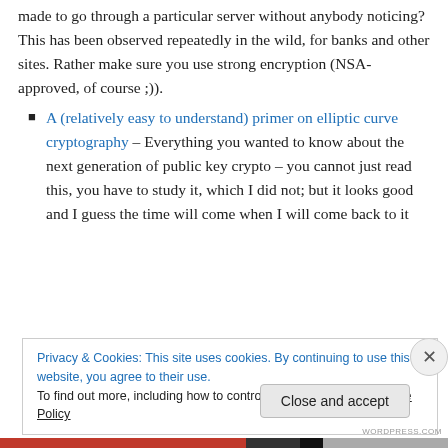made to go through a particular server without anybody noticing? This has been observed repeatedly in the wild, for banks and other sites. Rather make sure you use strong encryption (NSA-approved, of course ;)).
A (relatively easy to understand) primer on elliptic curve cryptography – Everything you wanted to know about the next generation of public key crypto – you cannot just read this, you have to study it, which I did not; but it looks good and I guess the time will come when I will come back to it
Privacy & Cookies: This site uses cookies. By continuing to use this website, you agree to their use.
To find out more, including how to control cookies, see here: Cookie Policy